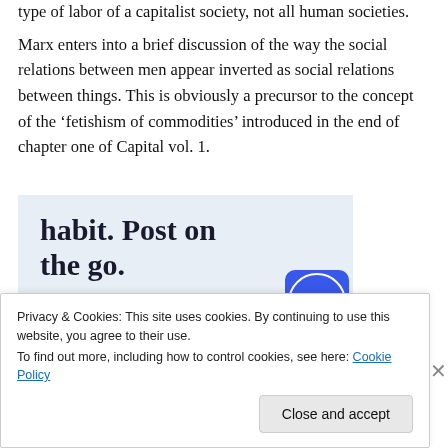type of labor of a capitalist society, not all human societies.
Marx enters into a brief discussion of the way the social relations between men appear inverted as social relations between things. This is obviously a precursor to the concept of the ‘fetishism of commodities’ introduced in the end of chapter one of Capital vol. 1.
[Figure (infographic): WordPress advertisement banner with light blue background showing text 'habit. Post on the go.' with 'GET THE APP' call to action and WordPress logo icon]
Privacy & Cookies: This site uses cookies. By continuing to use this website, you agree to their use.
To find out more, including how to control cookies, see here: Cookie Policy
Close and accept